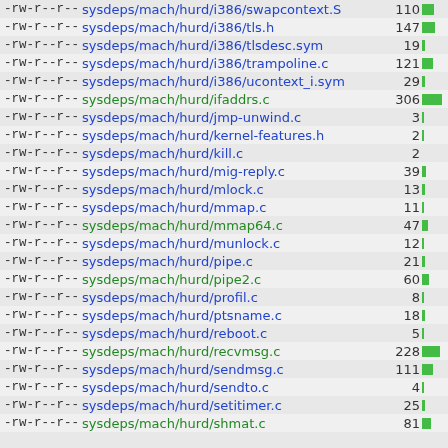| permissions | filename | count | bar |
| --- | --- | --- | --- |
| -rw-r--r-- | sysdeps/mach/hurd/i386/swapcontext.S | 110 | ■ |
| -rw-r--r-- | sysdeps/mach/hurd/i386/tls.h | 147 | ■ |
| -rw-r--r-- | sysdeps/mach/hurd/i386/tlsdesc.sym | 19 | | |
| -rw-r--r-- | sysdeps/mach/hurd/i386/trampoline.c | 121 | ■ |
| -rw-r--r-- | sysdeps/mach/hurd/i386/ucontext_i.sym | 29 | | |
| -rw-r--r-- | sysdeps/mach/hurd/ifaddrs.c | 306 | ██ |
| -rw-r--r-- | sysdeps/mach/hurd/jmp-unwind.c | 3 | | |
| -rw-r--r-- | sysdeps/mach/hurd/kernel-features.h | 2 | | |
| -rw-r--r-- | sysdeps/mach/hurd/kill.c | 2 |  |
| -rw-r--r-- | sysdeps/mach/hurd/mig-reply.c | 39 | | |
| -rw-r--r-- | sysdeps/mach/hurd/mlock.c | 13 | | |
| -rw-r--r-- | sysdeps/mach/hurd/mmap.c | 11 | | |
| -rw-r--r-- | sysdeps/mach/hurd/mmap64.c | 47 | ■ |
| -rw-r--r-- | sysdeps/mach/hurd/munlock.c | 12 | | |
| -rw-r--r-- | sysdeps/mach/hurd/pipe.c | 21 | | |
| -rw-r--r-- | sysdeps/mach/hurd/pipe2.c | 60 | | |
| -rw-r--r-- | sysdeps/mach/hurd/profil.c | 8 | | |
| -rw-r--r-- | sysdeps/mach/hurd/ptsname.c | 18 | | |
| -rw-r--r-- | sysdeps/mach/hurd/reboot.c | 5 | | |
| -rw-r--r-- | sysdeps/mach/hurd/recvmsg.c | 228 | ■ |
| -rw-r--r-- | sysdeps/mach/hurd/sendmsg.c | 111 | ■ |
| -rw-r--r-- | sysdeps/mach/hurd/sendto.c | 4 | | |
| -rw-r--r-- | sysdeps/mach/hurd/setitimer.c | 25 | | |
| -rw-r--r-- | sysdeps/mach/hurd/shmat.c | 81 | ■ |